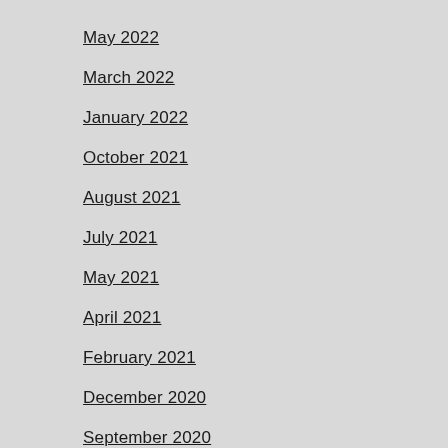May 2022
March 2022
January 2022
October 2021
August 2021
July 2021
May 2021
April 2021
February 2021
December 2020
September 2020
August 2020
June 2020